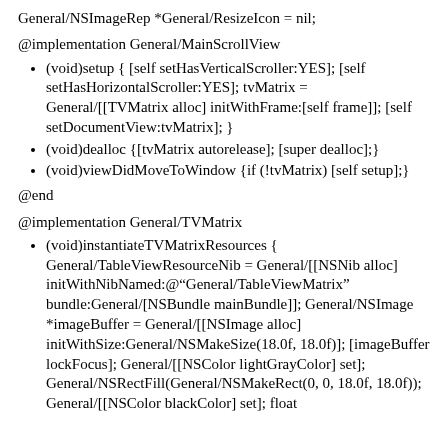General/NSImageRep *General/ResizeIcon = nil;
@implementation General/MainScrollView
(void)setup { [self setHasVerticalScroller:YES]; [self setHasHorizontalScroller:YES]; tvMatrix = General/[[TVMatrix alloc] initWithFrame:[self frame]]; [self setDocumentView:tvMatrix]; }
(void)dealloc {[tvMatrix autorelease]; [super dealloc];}
(void)viewDidMoveToWindow {if (!tvMatrix) [self setup];}
@end
@implementation General/TVMatrix
(void)instantiateTVMatrixResources { General/TableViewResourceNib = General/[[NSNib alloc] initWithNibNamed:@“General/TableViewMatrix” bundle:General/[NSBundle mainBundle]]; General/NSImage *imageBuffer = General/[[NSImage alloc] initWithSize:General/NSMakeSize(18.0f, 18.0f)]; [imageBuffer lockFocus]; General/[[NSColor lightGrayColor] set]; General/NSRectFill(General/NSMakeRect(0, 0, 18.0f, 18.0f)); General/[[NSColor blackColor] set]; float